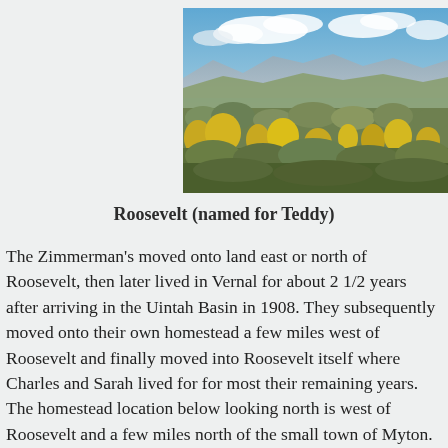[Figure (photo): Landscape photograph showing sagebrush and yellow wildflowers in the foreground with mountains and blue sky with clouds in the background, taken looking north west of Roosevelt, Utah.]
Roosevelt (named for Teddy)
The Zimmerman’s moved onto land east or north of Roosevelt, then later lived in Vernal for about 2 1/2 years after arriving in the Uintah Basin in 1908. They subsequently moved onto their own homestead a few miles west of Roosevelt and finally moved into Roosevelt itself where Charles and Sarah lived for for most their remaining years. The homestead location below looking north is west of Roosevelt and a few miles north of the small town of Myton.  It shows nearby irrigated valley’s today along with